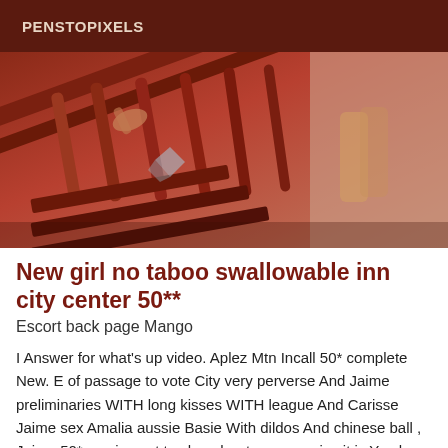PENSTOPIXELS
[Figure (photo): A photograph showing wooden staircase bannisters and steps from an upward angle, with warm reddish-brown tones and a hand visible on the railing.]
New girl no taboo swallowable inn city center 50**
Escort back page Mango
I Answer for what's up video. Aplez Mtn Incall 50* complete New. E of passage to vote City very perverse And Jaime preliminaries WITH long kisses WITH league And Carisse Jaime sex Amalia aussie Basie With dildos And chinese ball , Jaime 50* service not to cheecher too expensive it is You have of one Young lady And fresh